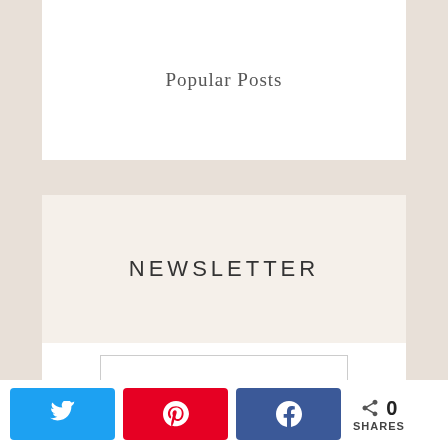Popular Posts
NEWSLETTER
E-Mail Address